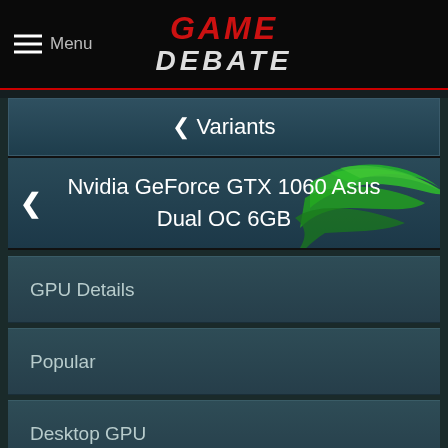Menu | GAME DEBATE
< Variants
Nvidia GeForce GTX 1060 Asus Dual OC 6GB
GPU Details
Popular
Desktop GPU
Laptop GPU
New GPU